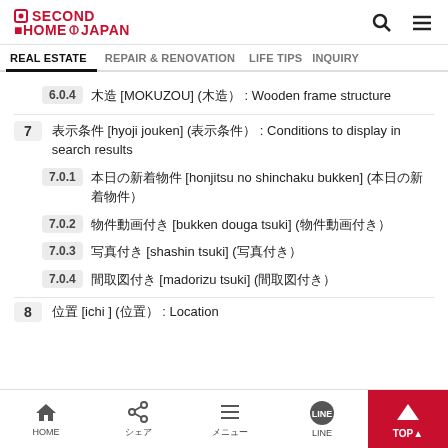SECOND HOME JAPAN — REAL ESTATE | REPAIR & RENOVATION | LIFE TIPS | INQUIRY
6.0.4  木造 [MOKUZOU] (もくぞう) : Wooden frame structure
7  表示条件 [hyoji jouken] (ひょうじじょうけん) : Conditions to display in search results
7.0.1  本日の新着物件 [honjitsu no shinchaku bukken] (本日の新着物件)
7.0.2  物件動画付き [bukken douga tsuki] (ぶっけんどうがつき)
7.0.3  写真付き [shashin tsuki] (しゃしんつき)
7.0.4  間取図付き [madorizu tsuki] (まどりずつき)
8  位置 [ichi ] (位置) : Location
HOME | シェア | メニュー | LINE | TOP↑